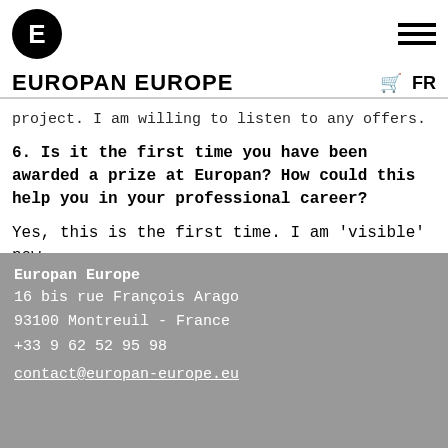EUROPAN EUROPE
project. I am willing to listen to any offers.
6. Is it the first time you have been awarded a prize at Europan? How could this help you in your professional career?
Yes, this is the first time. I am 'visible' now.
Europan Europe
16 bis rue François Arago
93100 Montreuil - France
+33 9 62 52 95 98

contact@europan-europe.eu